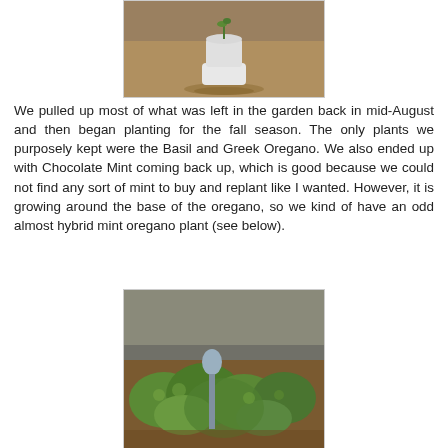[Figure (photo): A white ceramic toilet planter sitting in dirt/soil outdoors, partially cropped at top of page]
We pulled up most of what was left in the garden back in mid-August and then began planting for the fall season.  The only plants we purposely kept were the Basil and Greek Oregano.  We also ended up with Chocolate Mint coming back up, which is good because we could not find any sort of mint to buy and replant like I wanted.  However, it is growing around the base of the oregano, so we kind of have an odd almost hybrid mint oregano plant (see below).
[Figure (photo): A garden bed showing green leafy plants (oregano and mint growing together) with a gray plant marker stake, against a concrete wall background]